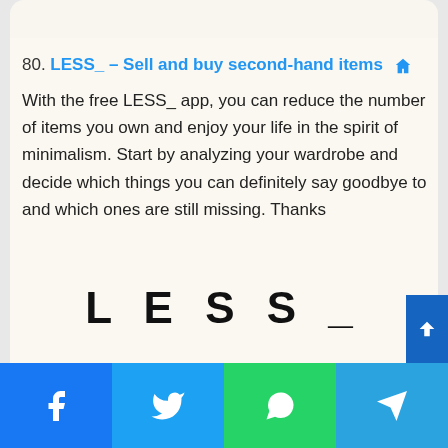80. LESS_ – Sell and buy second-hand items 🏠
With the free LESS_ app, you can reduce the number of items you own and enjoy your life in the spirit of minimalism. Start by analyzing your wardrobe and decide which things you can definitely say goodbye to and which ones are still missing. Thanks
[Figure (logo): LESS_ logo in large bold spaced letters]
Facebook | Twitter | WhatsApp | Telegram share buttons